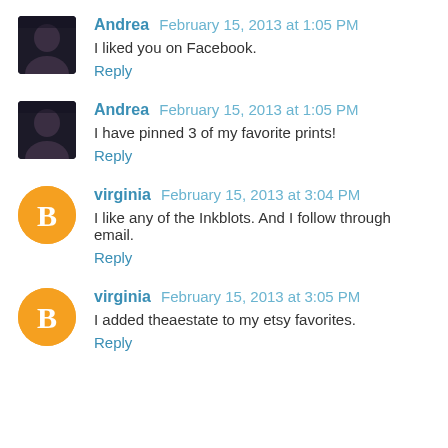Andrea  February 15, 2013 at 1:05 PM
I liked you on Facebook.
Reply
Andrea  February 15, 2013 at 1:05 PM
I have pinned 3 of my favorite prints!
Reply
virginia  February 15, 2013 at 3:04 PM
I like any of the Inkblots. And I follow through email.
Reply
virginia  February 15, 2013 at 3:05 PM
I added theaestate to my etsy favorites.
Reply